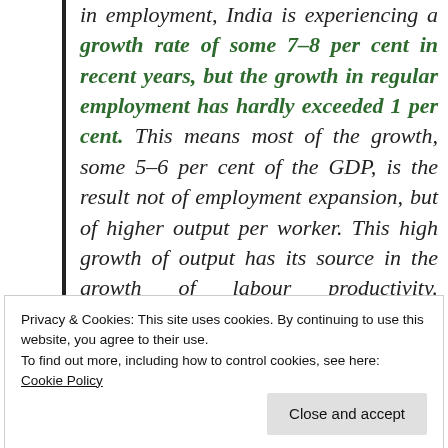in employment, India is experiencing a growth rate of some 7–8 per cent in recent years, but the growth in regular employment has hardly exceeded 1 per cent. This means most of the growth, some 5–6 per cent of the GDP, is the result not of employment expansion, but of higher output per worker. This high growth of output has its source in the growth of labour productivity. According to official statistics, between
Privacy & Cookies: This site uses cookies. By continuing to use this website, you agree to their use.
To find out more, including how to control cookies, see here:
Cookie Policy
Close and accept